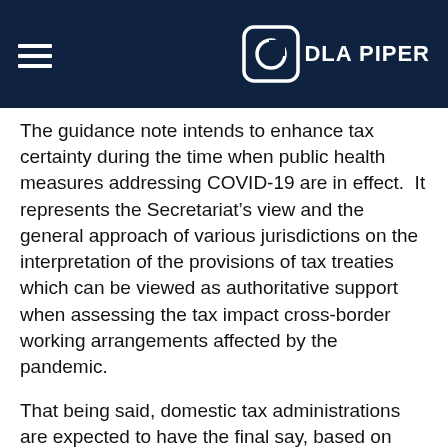DLA PIPER
The guidance note intends to enhance tax certainty during the time when public health measures addressing COVID-19 are in effect.  It represents the Secretariat’s view and the general approach of various jurisdictions on the interpretation of the provisions of tax treaties which can be viewed as authoritative support when assessing the tax impact cross-border working arrangements affected by the pandemic.
That being said, domestic tax administrations are expected to have the final say, based on their detailed examination of specific facts and circumstances in each case.
In this alert, we summarize our observations on the